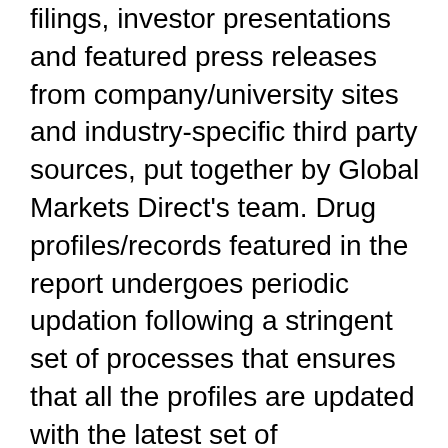filings, investor presentations and featured press releases from company/university sites and industry-specific third party sources, put together by Global Markets Direct's team. Drug profiles/records featured in the report undergoes periodic updation following a stringent set of processes that ensures that all the profiles are updated with the latest set of information. Additionally, processes including live news & deals tracking, browser based alert-box and clinical trials registries tracking ensure that the most recent developments are captured on a real time basis.
The report enhances decision making capabilities and help to create effective counter strategies to gain competitive advantage. It strengthens R&D